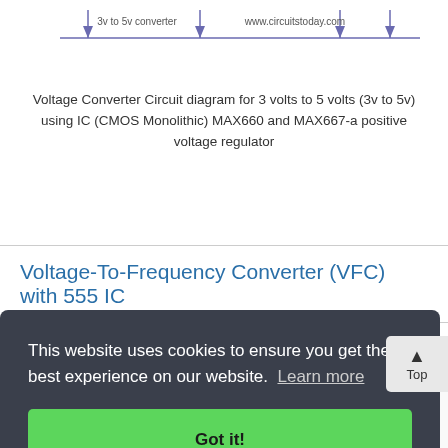[Figure (schematic): Partial circuit diagram strip showing arrows pointing down, '3v to 5v converter' label, 'www.circuitstoday.com' watermark, and additional downward arrows]
Voltage Converter Circuit diagram for 3 volts to 5 volts (3v to 5v) using IC (CMOS Monolithic) MAX660 and MAX667-a positive voltage regulator
Voltage-To-Frequency Converter (VFC) with 555 IC
This website uses cookies to ensure you get the best experience on our website. Learn more
Got it!
[Figure (schematic): Partial circuit diagram at bottom of page, partially obscured by cookie banner, showing component connections with output frequency label]
out
Hz/V